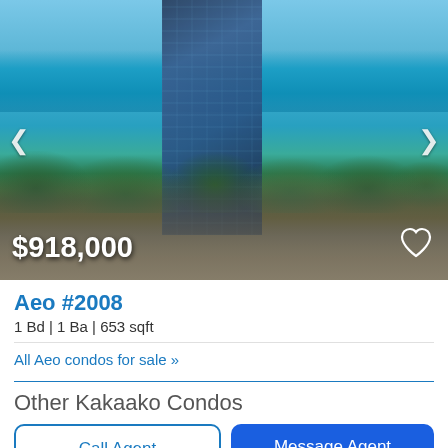[Figure (photo): Aerial view of a modern glass high-rise condo tower in Honolulu Hawaii with ocean/beach visible in the background, city buildings and tropical trees below, blue sky above. Price overlay shows $918,000 with a heart/favorite icon.]
Aeo #2008
1 Bd | 1 Ba | 653 sqft
All Aeo condos for sale »
Other Kakaako Condos
Call Agent
Message Agent